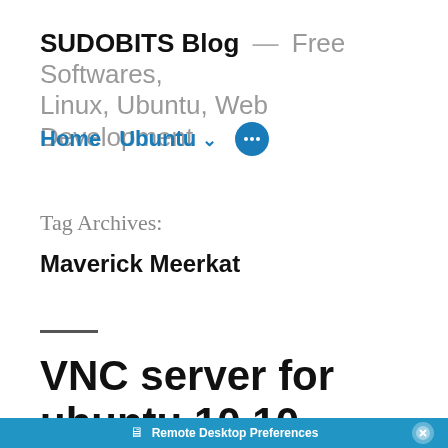SUDOBITS Blog — Free Softwares, Linux, Ubuntu, Web Development
Home  Ubuntu ∨  ⋯
Tag Archives:
Maverick Meerkat
VNC server for ubuntu 10.10
[Figure (screenshot): Partial screenshot showing a blue bar with 'Remote Desktop Preferences' dialog title]